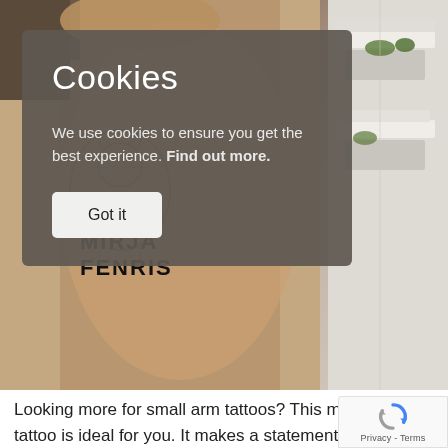[Figure (photo): Background photo showing a person's arm with a cat tattoo visible, and a building with white balconies on the right side. Watermark text 'MIRJA FENRIS' overlaid on the lower left of the image.]
Cookies
We use cookies to ensure you get the best experience. Find out more.
Got it
Looking more for small arm tattoos? This minimal bo tattoo is ideal for you. It makes a statement while not